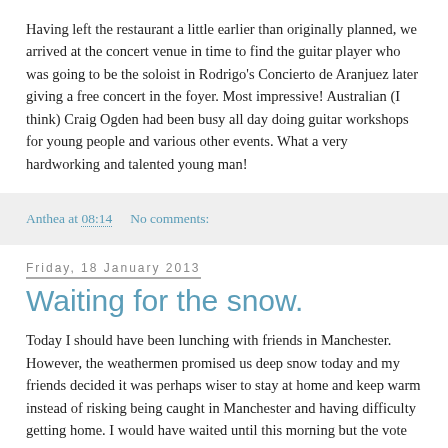Having left the restaurant a little earlier than originally planned, we arrived at the concert venue in time to find the guitar player who was going to be the soloist in Rodrigo's Concierto de Aranjuez later giving a free concert in the foyer. Most impressive! Australian (I think) Craig Ogden had been busy all day doing guitar workshops for young people and various other events. What a very hardworking and talented young man!
Anthea at 08:14    No comments:
Friday, 18 January 2013
Waiting for the snow.
Today I should have been lunching with friends in Manchester. However, the weathermen promised us deep snow today and my friends decided it was perhaps wiser to stay at home and keep warm instead of risking being caught in Manchester and having difficulty getting home. I would have waited until this morning but the vote went against me and as it was actually snowing as we discussed it, I went along with their decision. And now, half way through the day, the snow has not yet arrived. There have been occasional flurries of extremely